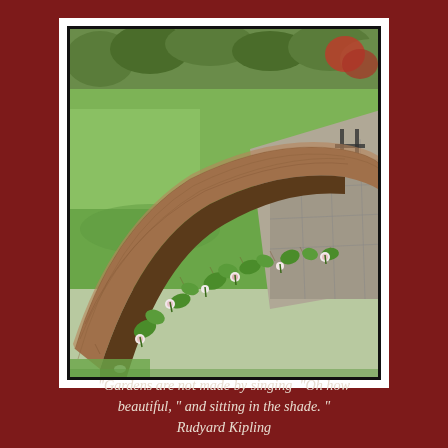[Figure (photo): Outdoor garden with a curved raised brick planter bed filled with young plants and flowers, surrounded by green lawn. In the background there are trees, shrubs, and a patio area with furniture.]
"Gardens are not made by singing  "Oh how beautiful, " and sitting in the shade. " Rudyard Kipling